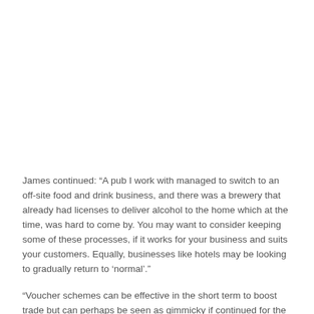James continued: “A pub I work with managed to switch to an off-site food and drink business, and there was a brewery that already had licenses to deliver alcohol to the home which at the time, was hard to come by. You may want to consider keeping some of these processes, if it works for your business and suits your customers. Equally, businesses like hotels may be looking to gradually return to ‘normal’.”
“Voucher schemes can be effective in the short term to boost trade but can perhaps be seen as gimmicky if continued for the longer term – customers will ask why not just lower your prices?” said